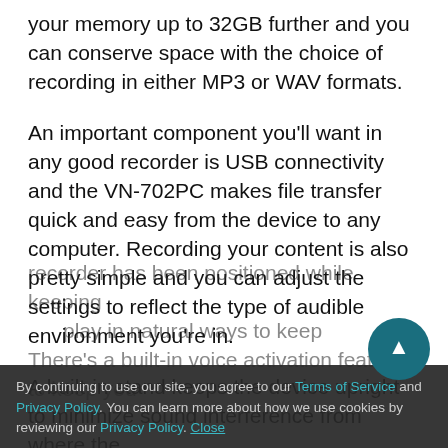your memory up to 32GB further and you can conserve space with the choice of recording in either MP3 or WAV formats.
An important component you'll want in any good recorder is USB connectivity and the VN-702PC makes file transfer quick and easy from the device to any computer. Recording your content is also pretty simple and you can adjust the settings to reflect the type of audible environment you're in.
A built-in stand keeps the device upright to minimize sound interference from where the recorder has been positioned while keeping...
By continuing to use our site, you agree to our Terms of Service and Privacy Policy. You can learn more about how we use cookies by reviewing our Privacy Policy. Close